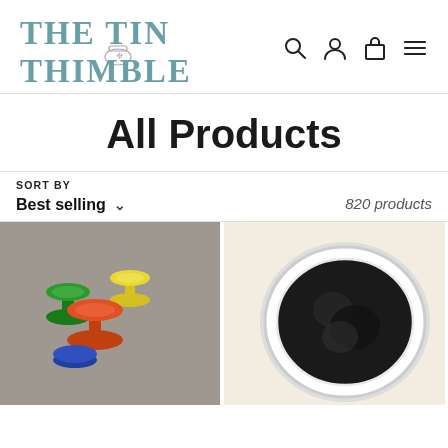[Figure (logo): The Tin Thimble store logo in teal/slate blue serif font with a thimble icon in the center]
[Figure (screenshot): Navigation icons: search (magnifying glass), account (person), cart (shopping bag), and hamburger menu]
All Products
SORT BY
Best selling
820 products
[Figure (photo): Photo of colorful plastic mushroom-shaped stamps in green, yellow, orange, and blue on a gray surface]
[Figure (photo): Photo of a black circular object (possibly black wool or felt) in a round container on a light background]